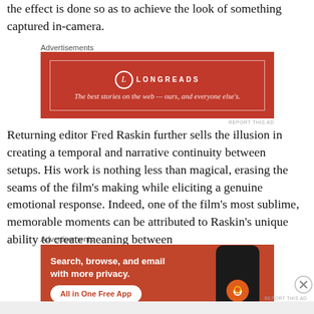the effect is done so as to achieve the look of something captured in-camera.
[Figure (other): Longreads advertisement banner: red background with white inner border, Longreads logo and tagline 'The best stories on the web — ours, and everyone else's.']
Returning editor Fred Raskin further sells the illusion in creating a temporal and narrative continuity between setups. His work is nothing less than magical, erasing the seams of the film's making while eliciting a genuine emotional response. Indeed, one of the film's most sublime, memorable moments can be attributed to Raskin's unique ability to create meaning between
[Figure (other): DuckDuckGo advertisement: orange-red background with text 'Search, browse, and email with more privacy. All in One Free App' and phone image with DuckDuckGo logo.]